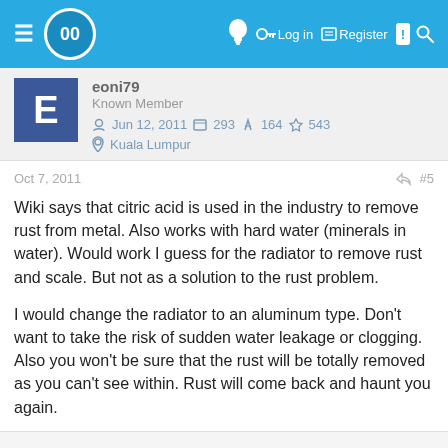Navigation bar with logo, Log in, Register, and search icons
eoni79
Known Member
Jun 12, 2011  293  164  543
Kuala Lumpur
Oct 7, 2011  #5
Wiki says that citric acid is used in the industry to remove rust from metal. Also works with hard water (minerals in water). Would work I guess for the radiator to remove rust and scale. But not as a solution to the rust problem.

I would change the radiator to an aluminum type. Don't want to take the risk of sudden water leakage or clogging. Also you won't be sure that the rust will be totally removed as you can't see within. Rust will come back and haunt you again.